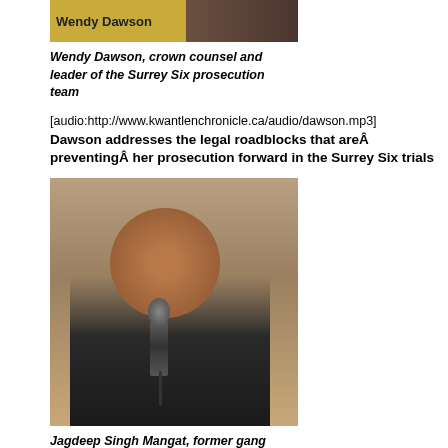[Figure (photo): Photo of Wendy Dawson with yellow/gold name bar overlay]
Wendy Dawson, crown counsel and leader of the Surrey Six prosecution team
[audio:http://www.kwantlenchronicle.ca/audio/dawson.mp3]
Dawson addresses the legal roadblocks that areÂ preventingÂ her prosecution forward in the Surrey Six trials
[Figure (photo): Photo of Jagdeep Singh Mangat speaking into a microphone]
Jagdeep Singh Mangat, former gang member, UBC law student and social activist
[audio:http://www.kwantlenchronicle.ca/audio/mangat.mp3]